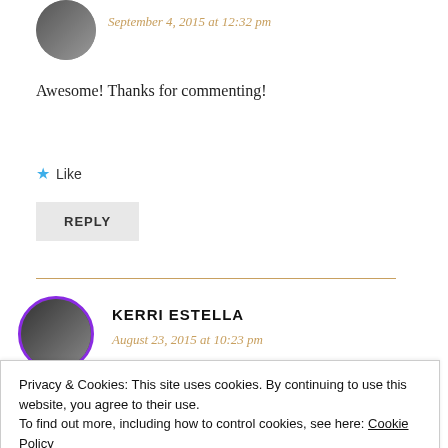September 4, 2015 at 12:32 pm
Awesome! Thanks for commenting!
★ Like
REPLY
KERRI ESTELLA
August 23, 2015 at 10:23 pm
Privacy & Cookies: This site uses cookies. By continuing to use this website, you agree to their use. To find out more, including how to control cookies, see here: Cookie Policy
Close and accept